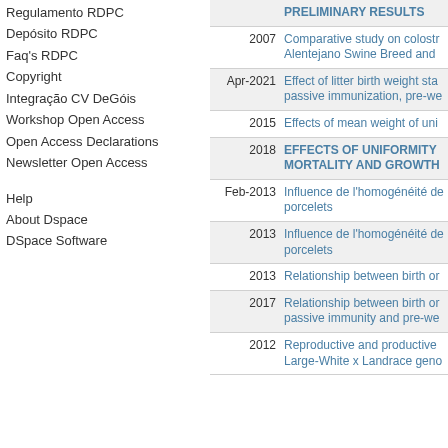Regulamento RDPC
Depósito RDPC
Faq's RDPC
Copyright
Integração CV DeGóis
Workshop Open Access
Open Access Declarations
Newsletter Open Access
Help
About Dspace
DSpace Software
| Date | Title |
| --- | --- |
|  | PRELIMINARY RESULTS |
| 2007 | Comparative study on colostr Alentejano Swine Breed and |
| Apr-2021 | Effect of litter birth weight sta passive immunization, pre-we |
| 2015 | Effects of mean weight of uni |
| 2018 | EFFECTS OF UNIFORMITY MORTALITY AND GROWTH |
| Feb-2013 | Influence de l'homogénéité de porcelets |
| 2013 | Influence de l'homogénéité de porcelets |
| 2013 | Relationship between birth or |
| 2017 | Relationship between birth or passive immunity and pre-we |
| 2012 | Reproductive and productive Large-White x Landrace geno |